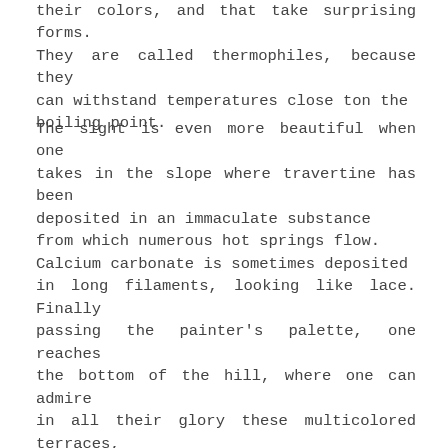their colors, and that take surprising forms. They are called thermophiles, because they can withstand temperatures close ton the boiling point.
The sight is even more beautiful when one takes in the slope where travertine has been deposited in an immaculate substance from which numerous hot springs flow. Calcium carbonate is sometimes deposited in long filaments, looking like lace. Finally passing the painter's palette, one reaches the bottom of the hill, where one can admire in all their glory these multicolored terraces, in sparkling hues, precisely resembling the fountains that were built in Rome, at the Tiburtina … besides, the name of this rock, travertine, precisely comes from the italian word Tiburtina… and some of these terraces seem to come straight from a piazza in the Eternal City !